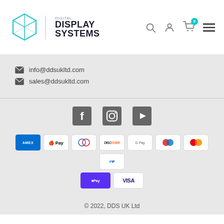[Figure (logo): Digital Display Systems logo with teal geometric box icon and bold text]
info@ddsukltd.com
sales@ddsukltd.com
[Figure (infographic): Social media icons: Facebook, Instagram, YouTube]
[Figure (infographic): Payment method icons: Amex, Apple Pay, Diners Club, Discover, Google Pay, Maestro, Mastercard, PayPal, Shop Pay, Visa]
© 2022, DDS UK Ltd